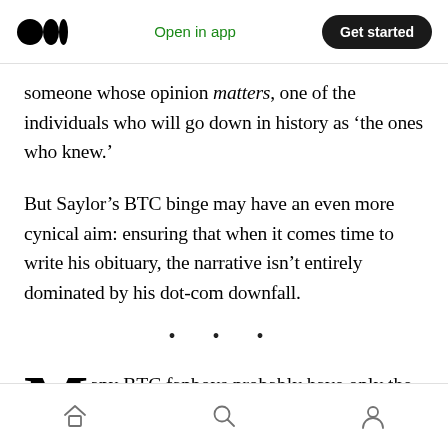Open in app | Get started
someone whose opinion matters, one of the individuals who will go down in history as ‘the ones who knew.’
But Saylor’s BTC binge may have an even more cynical aim: ensuring that when it comes time to write his obituary, the narrative isn’t entirely dominated by his dot-com downfall.
· · ·
Many BTC fanboys probably have only the
Home | Search | Profile